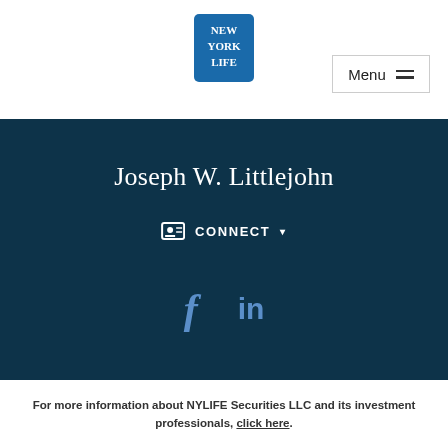[Figure (logo): New York Life logo — blue square with white serif text reading NEW / YORK / LIFE]
Menu ≡
Joseph W. Littlejohn
☐ CONNECT ▾
[Figure (illustration): Facebook and LinkedIn social media icons in blue]
For more information about NYLIFE Securities LLC and its investment professionals, click here.